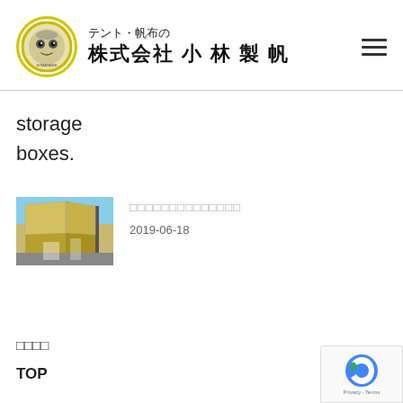テント・帆布の 株式会社 小 林 製 帆
storage boxes.
[Figure (photo): Thumbnail photo of a large tent canopy structure outdoors with yellow/beige fabric]
□□□□□□□□□□□□□□
2019-06-18
□□□□
TOP